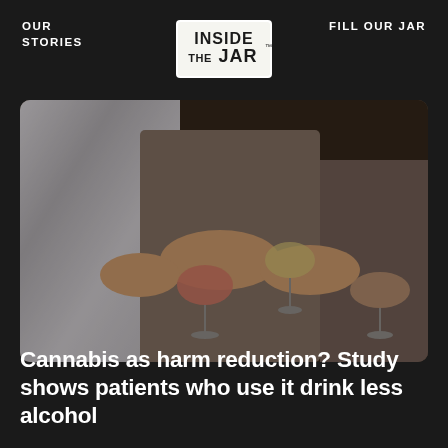OUR STORIES
FILL OUR JAR
[Figure (logo): Inside The Jar logo — stylized text in a rectangular badge shape with rough/stamped appearance]
[Figure (photo): Three women sitting together, holding up drinks (wine glasses and cocktail glasses) in a toasting gesture at what appears to be a nightclub or bar setting. Women are wearing glamorous outfits — a sequined silver dress and silky gray dresses.]
Cannabis as harm reduction? Study shows patients who use it drink less alcohol